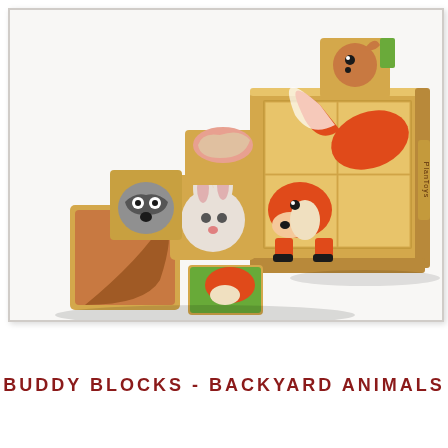[Figure (photo): Wooden animal puzzle blocks showing backyard animals. Several loose wooden cubes with illustrated animals (rabbit, squirrel, fox, raccoon) are stacked on the left. On the right is a wooden frame/tray holding 4 blocks arranged in a 2x2 grid showing a complete fox illustration. A squirrel block sits on top of the frame. The brand logo is visible on the side of the wooden tray.]
BUDDY BLOCKS - BACKYARD ANIMALS